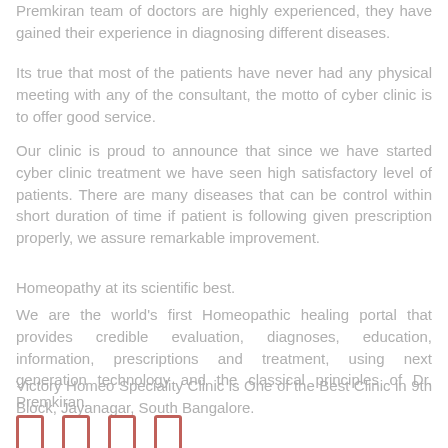Premkiran team of doctors are highly experienced, they have gained their experience in diagnosing different diseases.
Its true that most of the patients have never had any physical meeting with any of the consultant, the motto of cyber clinic is to offer good service.
Our clinic is proud to announce that since we have started cyber clinic treatment we have seen high satisfactory level of patients. There are many diseases that can be control within short duration of time if patient is following given prescription properly, we assure remarkable improvement.
Homeopathy at its scientific best.
We are the world's first Homeopathic healing portal that provides credible evaluation, diagnoses, education, information, prescriptions and treatment, using next generation technology and the classical principles of Dr. Premkiran.
Victory Homeo Speciality Clinic is One of the Best Clinic in 9th Block, Jayanagar, South Bangalore.
[Figure (other): Four social media icon boxes rendered as small rectangles with orange-red borders]